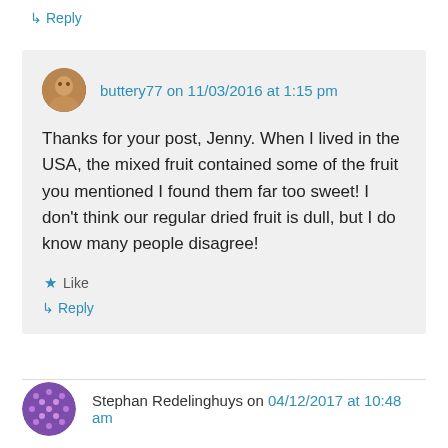↳ Reply
buttery77 on 11/03/2016 at 1:15 pm
Thanks for your post, Jenny. When I lived in the USA, the mixed fruit contained some of the fruit you mentioned I found them far too sweet! I don't think our regular dried fruit is dull, but I do know many people disagree!
★ Like
↳ Reply
Stephan Redelinghuys on 04/12/2017 at 10:48 am